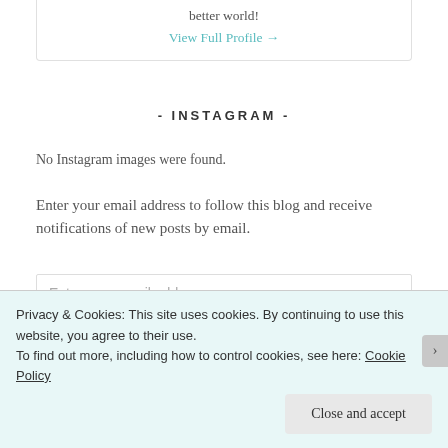better world!
View Full Profile →
- INSTAGRAM -
No Instagram images were found.
Enter your email address to follow this blog and receive notifications of new posts by email.
Enter your email address
FOLLOW VIA EMAIL
Privacy & Cookies: This site uses cookies. By continuing to use this website, you agree to their use.
To find out more, including how to control cookies, see here: Cookie Policy
Close and accept